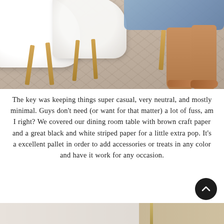[Figure (photo): Photo of white Eames-style chairs with wooden legs on a patterned area rug, with a person's bare feet and jeans-clad legs visible in the background]
The key was keeping things super casual, very neutral, and mostly minimal. Guys don't need (or want for that matter) a lot of fuss, am I right? We covered our dining room table with brown craft paper and a great black and white striped paper for a little extra pop. It's a excellent pallet in order to add accessories or treats in any color and have it work for any occasion.
[Figure (photo): Partial photo at bottom showing a white surface and what appears to be a table or furniture with a brass/gold element]